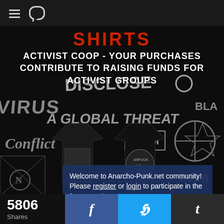Navigation bar with menu and chat icons
[Figure (photo): Dark background collage of punk band logos including Conflict, Disclose, A Global Threat, Human and others, with two black t-shirts visible in the lower portion]
SHIRTS
ACTIVIST COOP - YOUR PURCHASES CONTRIBUTE TO RAISING FUNDS FOR ACTIVIST GROUPS
Welcome to Anarcho-Punk.net community! Please register or login to participate in the forums. □/□
5806
Shares